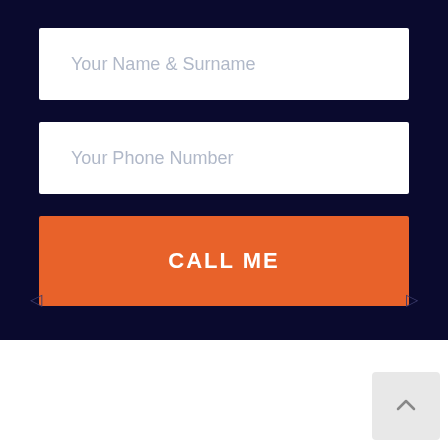Your Name & Surname
Your Phone Number
CALL ME
[Figure (other): Scroll-to-top button with upward caret arrow icon, light gray background, positioned in bottom-right corner of white section]